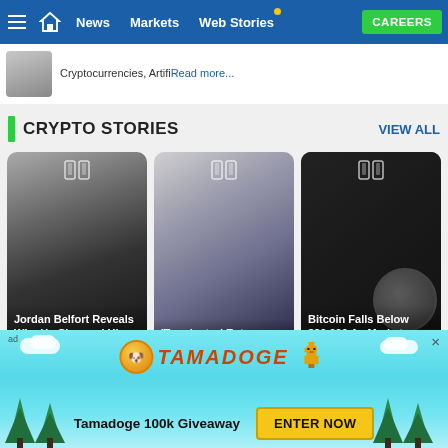≡  🏠  News  Markets  Web Stories  CAREERS
Cryptocurrencies, ArtifiRead more...
CRYPTO STORIES
VIEW ALL
[Figure (screenshot): Story card: Jordan Belfort Reveals Why He Changed His Mind — black and white photo of a man]
Jordan Belfort Reveals Why He Changed His Mind
[Figure (screenshot): Story card: 'Terminator' Enters Metaverse — image of a female robot/cyborg]
'Terminator' Enters Metaverse
[Figure (screenshot): Story card: Bitcoin Falls Below $20,000 As Market Remains In — Bitcoin coin image]
Bitcoin Falls Below $20,000 As Market Remains In
[Figure (infographic): Tamadoge advertisement banner with dog mascot, 'Tamadoge 100k Giveaway' and 'ENTER NOW' button]